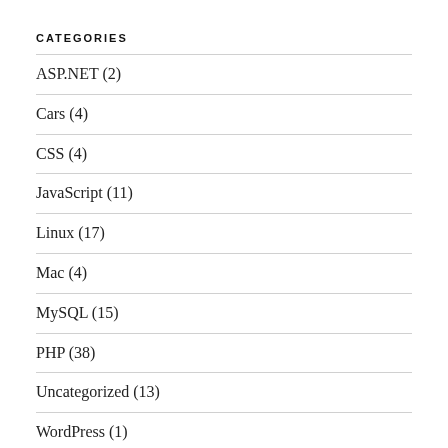CATEGORIES
ASP.NET (2)
Cars (4)
CSS (4)
JavaScript (11)
Linux (17)
Mac (4)
MySQL (15)
PHP (38)
Uncategorized (13)
WordPress (1)